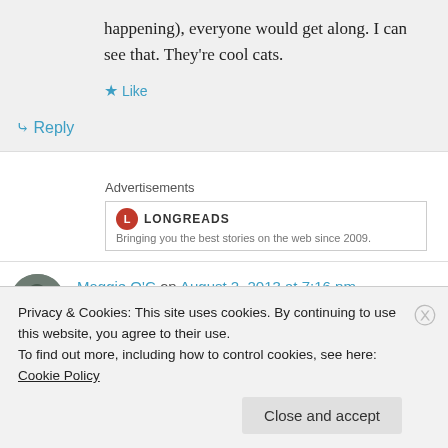happening), everyone would get along. I can see that. They're cool cats.
★ Like
↳ Reply
Advertisements
[Figure (logo): Longreads logo with red circle L and text LONGREADS. Subtitle: Bringing you the best stories on the web since 2009.]
Maggie O'C on August 2, 2013 at 7:16 pm
Privacy & Cookies: This site uses cookies. By continuing to use this website, you agree to their use.
To find out more, including how to control cookies, see here: Cookie Policy
Close and accept